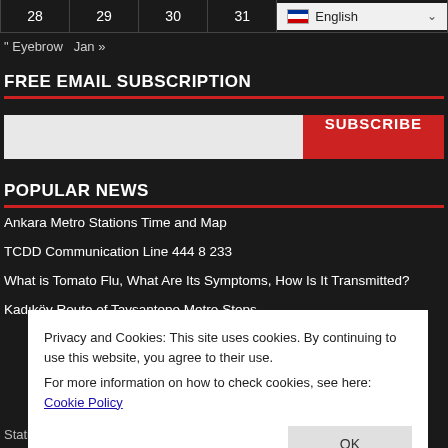| 28 | 29 | 30 | 31 | English |
| --- | --- | --- | --- | --- |
" Eyebrow  Jan »
FREE EMAIL SUBSCRIPTION
[Figure (other): Email subscription input box and SUBSCRIBE button]
POPULAR NEWS
Ankara Metro Stations Time and Map
TCDD Communication Line 444 8 233
What is Tomato Flu, What Are Its Symptoms, How Is It Transmitted?
Kadıköy Route of Tavsantepe Metro Stops
Privacy and Cookies: This site uses cookies. By continuing to use this website, you agree to their use.
For more information on how to check cookies, see here: Cookie Policy
OK
Station